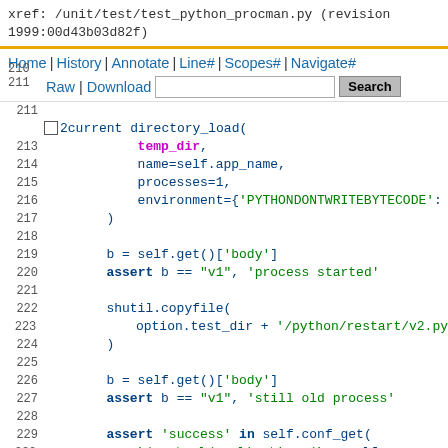xref: /unit/test/test_python_procman.py (revision 1999:00d43b03d82f)
Home | History | Annotate | Line# | Scopes# | Navigate#
210
1 Raw | Download [Search box] Search
211
□ 2current directory_load(
Code lines 213-234: temp_dir, name=self.app_name, processes=1, environment={'PYTHONDONTWRITEBYTECODE': ), ), b = self.get()['body'] assert b == "v1", 'process started' shutil.copyfile( option.test_dir + '/python/restart/v2.py ) b = self.get()['body'] assert b == "v1", 'still old process' assert 'success' in self.conf_get( '/control/applications/' + self.app_name ), 'restart processes' b = self.get()['body'] assert b == "v2", 'new process started'